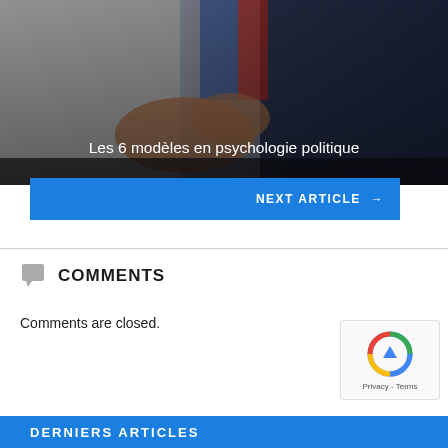[Figure (photo): Hero image showing a person in a dark suit with hands gesturing, seated at a table with blue and red flags in the background. The image is dimmed/overlaid.]
Les 6 modèles en psychologie politique
NEXT ARTICLE →
COMMENTS
Comments are closed.
[Figure (other): reCAPTCHA badge with logo and Privacy - Terms text]
DERNIERS ARTICLES